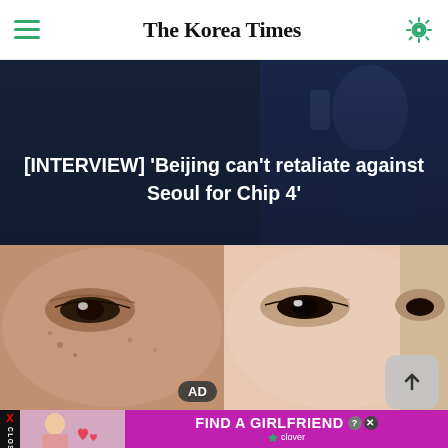The Korea Times
[Figure (photo): News article hero image showing a man in a suit speaking on phone, with dark overlay. Headline text overlaid: [INTERVIEW] 'Beijing can't retaliate against Seoul for Chip 4']
[INTERVIEW] 'Beijing can't retaliate against Seoul for Chip 4'
[Figure (photo): Close-up split image of two faces showing eyes and skin, used as an advertisement or article image. 'AD' label visible on the image.]
[Figure (infographic): Bottom banner advertisement: 'FIND A GIRLFRIEND' in white bold text on pink/magenta background, with Clover branding and close/X buttons.]